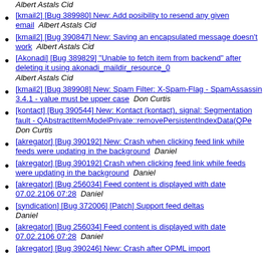Albert Astals Cid
[kmail2] [Bug 389980] New: Add posibility to resend any given email  Albert Astals Cid
[kmail2] [Bug 390847] New: Saving an encapsulated message doesn't work  Albert Astals Cid
[Akonadi] [Bug 389829] "Unable to fetch item from backend" after deleting it using akonadi_maildir_resource_0  Albert Astals Cid
[kmail2] [Bug 389908] New: Spam Filter: X-Spam-Flag - SpamAssassin 3.4.1 - value must be upper case  Don Curtis
[kontact] [Bug 390544] New: Kontact (kontact), signal: Segmentation fault - QAbstractItemModelPrivate::removePersistentIndexData(QPe  Don Curtis
[akregator] [Bug 390192] New: Crash when clicking feed link while feeds were updating in the background  Daniel
[akregator] [Bug 390192] Crash when clicking feed link while feeds were updating in the background  Daniel
[akregator] [Bug 256034] Feed content is displayed with date 07.02.2106 07:28  Daniel
[syndication] [Bug 372006] [Patch] Support feed deltas  Daniel
[akregator] [Bug 256034] Feed content is displayed with date 07.02.2106 07:28  Daniel
[akregator] [Bug 390246] New: Crash after OPML import